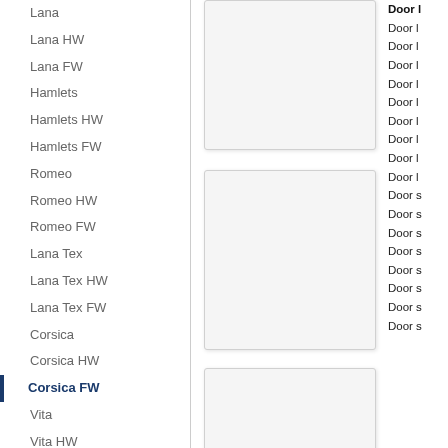Lana
Lana HW
Lana FW
Hamlets
Hamlets HW
Hamlets FW
Romeo
Romeo HW
Romeo FW
Lana Tex
Lana Tex HW
Lana Tex FW
Corsica
Corsica HW
Corsica FW (active)
Vita
Vita HW
Vita FW
Lana FIN
Lana FIN HW
Lana FIN FW
[Figure (other): Top image placeholder - door/product image area]
[Figure (other): Middle image placeholder - door/product image area]
[Figure (other): Bottom image placeholder - door/product image area]
Door l... (repeated entries, partially visible right column)